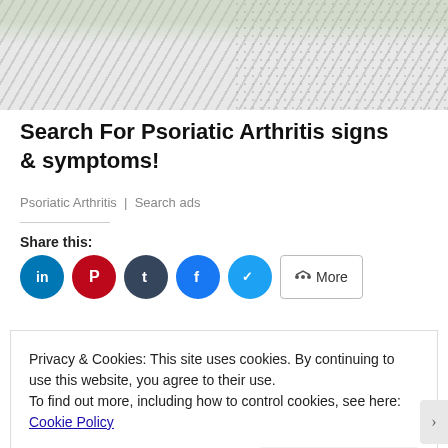[Figure (photo): Person in striped shirt holding their abdomen, partial view from neck to waist]
Search For Psoriatic Arthritis signs & symptoms!
Psoriatic Arthritis | Search ads
Share this:
Privacy & Cookies: This site uses cookies. By continuing to use this website, you agree to their use.
To find out more, including how to control cookies, see here: Cookie Policy